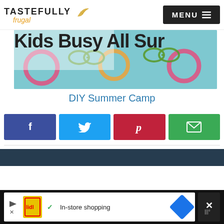TASTEFULLY frugal — MENU
[Figure (illustration): Colorful summer-themed banner image with teal background, pool floats, sunglasses, text partially visible: 'Kids Busy All Sum']
DIY Summer Camp
[Figure (infographic): Row of four social share buttons: Facebook (dark blue, f icon), Twitter (blue, bird icon), Pinterest (red, P icon), Email (green, envelope icon)]
This website tracks your activities. If you continue browsing the site, you're giving us consent to track your activity.
[Figure (screenshot): Advertisement bar at bottom: Lidl logo, checkmark, 'In-store shopping', Google Maps navigation diamond icon, close X button]